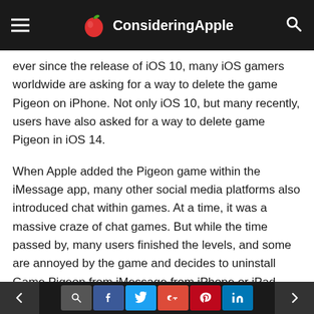ConsideringApple
ever since the release of iOS 10, many iOS gamers worldwide are asking for a way to delete the game Pigeon on iPhone. Not only iOS 10, but many recently, users have also asked for a way to delete game Pigeon in iOS 14.
When Apple added the Pigeon game within the iMessage app, many other social media platforms also introduced chat within games. At a time, it was a massive craze of chat games. But while the time passed by, many users finished the levels, and some are annoyed by the game and decides to uninstall Game Pigeon from iMessage from iPhone or iPad.
How To Remove Game Pigeon From iMes...
< [search] [f] [t] [G+] [P] [in] >